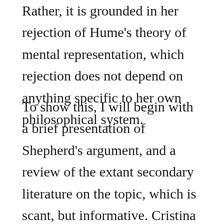Rather, it is grounded in her rejection of Hume's theory of mental representation, which rejection does not depend on anything specific to her own philosophical system.
To show this, I will begin with a brief presentation of Shepherd's argument, and a review of the extant secondary literature on the topic, which is scant, but informative. Cristina Paoletti and Jeremy Fantl represent one side of the current thinking about Shepherd's argument: that it is straightforwardly question-begging against Hume. Martha Brandt Bolton represents another side: that the dialectic between Hume and Shepherd is more subtle, and that to understand Shepherd's argument properly, one has to understand its place in her broader philosophical